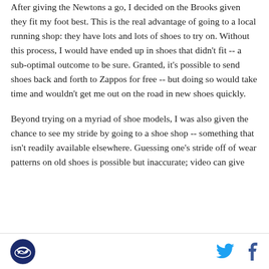After giving the Newtons a go, I decided on the Brooks given they fit my foot best. This is the real advantage of going to a local running shop: they have lots and lots of shoes to try on. Without this process, I would have ended up in shoes that didn't fit -- a sub-optimal outcome to be sure. Granted, it's possible to send shoes back and forth to Zappos for free -- but doing so would take time and wouldn't get me out on the road in new shoes quickly.
Beyond trying on a myriad of shoe models, I was also given the chance to see my stride by going to a shoe shop -- something that isn't readily available elsewhere. Guessing one's stride off of wear patterns on old shoes is possible but inaccurate; video can give
Logo | Twitter | Facebook